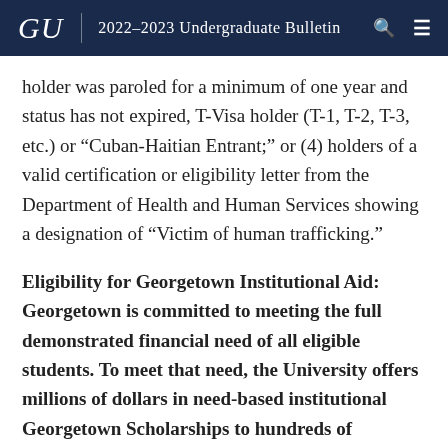GU 2022-2023 Undergraduate Bulletin
holder was paroled for a minimum of one year and status has not expired, T-Visa holder (T-1, T-2, T-3, etc.) or “Cuban-Haitian Entrant;” or (4) holders of a valid certification or eligibility letter from the Department of Health and Human Services showing a designation of “Victim of human trafficking.”
Eligibility for Georgetown Institutional Aid
Georgetown is committed to meeting the full demonstrated financial need of all eligible students. To meet that need, the University offers millions of dollars in need-based institutional Georgetown Scholarships to hundreds of